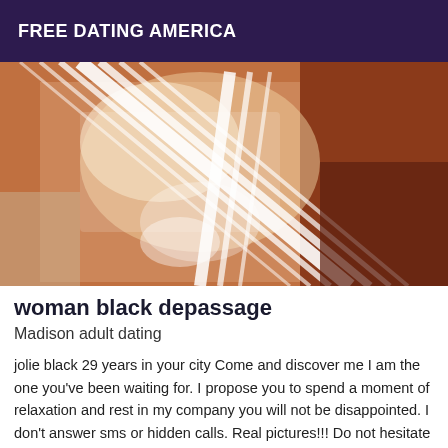FREE DATING AMERICA
[Figure (photo): Close-up photo of a person wearing a white lace/strappy bralette against a warm brown background]
woman black depassage
Madison adult dating
jolie black 29 years in your city Come and discover me I am the one you've been waiting for. I propose you to spend a moment of relaxation and rest in my company you will not be disappointed. I don't answer sms or hidden calls. Real pictures!!! Do not hesitate to contact